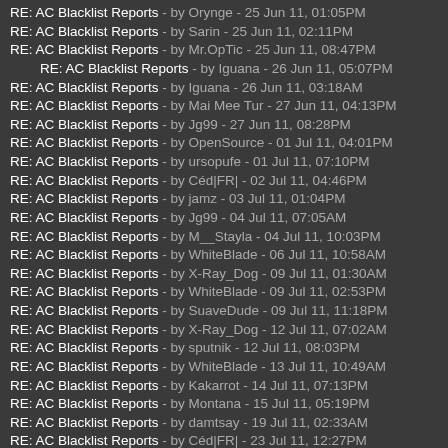RE: AC Blacklist Reports - by Orynge - 25 Jun 11, 01:05PM
RE: AC Blacklist Reports - by Sarin - 25 Jun 11, 02:11PM
RE: AC Blacklist Reports - by Mr.OpTic - 25 Jun 11, 08:47PM
RE: AC Blacklist Reports - by Iguana - 26 Jun 11, 05:07PM
RE: AC Blacklist Reports - by Iguana - 26 Jun 11, 03:18AM
RE: AC Blacklist Reports - by Mai Mee Tur - 27 Jun 11, 04:13PM
RE: AC Blacklist Reports - by Jg99 - 27 Jun 11, 08:28PM
RE: AC Blacklist Reports - by OpenSource - 01 Jul 11, 04:01PM
RE: AC Blacklist Reports - by ursopufe - 01 Jul 11, 07:10PM
RE: AC Blacklist Reports - by Céd|FR| - 02 Jul 11, 04:46PM
RE: AC Blacklist Reports - by jamz - 03 Jul 11, 01:04PM
RE: AC Blacklist Reports - by Jg99 - 04 Jul 11, 07:05AM
RE: AC Blacklist Reports - by M__Stayla - 04 Jul 11, 10:03PM
RE: AC Blacklist Reports - by WhiteBlade - 06 Jul 11, 10:58AM
RE: AC Blacklist Reports - by X-Ray_Dog - 09 Jul 11, 01:30AM
RE: AC Blacklist Reports - by WhiteBlade - 09 Jul 11, 02:53PM
RE: AC Blacklist Reports - by SuaveDude - 09 Jul 11, 11:18PM
RE: AC Blacklist Reports - by X-Ray_Dog - 12 Jul 11, 07:02AM
RE: AC Blacklist Reports - by sputnik - 12 Jul 11, 08:03PM
RE: AC Blacklist Reports - by WhiteBlade - 13 Jul 11, 10:49AM
RE: AC Blacklist Reports - by Kakarrot - 14 Jul 11, 07:13PM
RE: AC Blacklist Reports - by Montana - 15 Jul 11, 05:19PM
RE: AC Blacklist Reports - by damtsay - 19 Jul 11, 02:33AM
RE: AC Blacklist Reports - by Céd|FR| - 23 Jul 11, 12:27PM